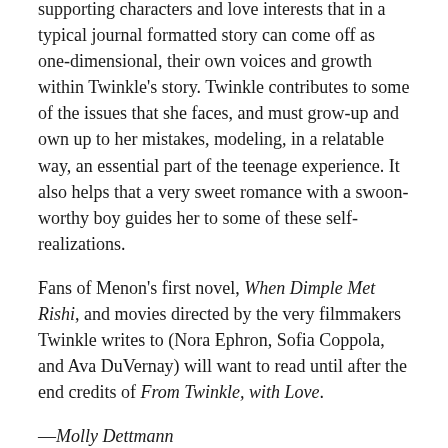supporting characters and love interests that in a typical journal formatted story can come off as one-dimensional, their own voices and growth within Twinkle's story. Twinkle contributes to some of the issues that she faces, and must grow-up and own up to her mistakes, modeling, in a relatable way, an essential part of the teenage experience. It also helps that a very sweet romance with a swoon-worthy boy guides her to some of these self-realizations.
Fans of Menon's first novel, When Dimple Met Rishi, and movies directed by the very filmmakers Twinkle writes to (Nora Ephron, Sofia Coppola, and Ava DuVernay) will want to read until after the end credits of From Twinkle, with Love.
—Molly Dettmann